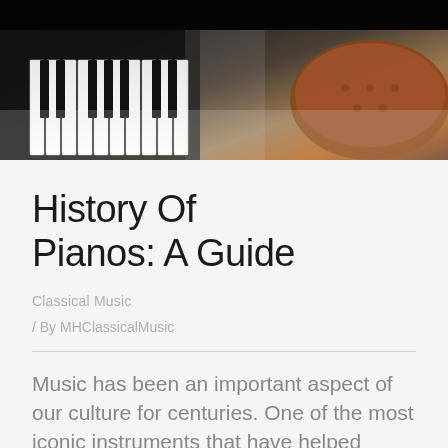[Figure (photo): Close-up photograph of piano keys in the foreground with a blurred brown tufted bench/seat visible in the background right, and dark piano body on the left. The image has a shallow depth of field with the keys fading into blur.]
History Of Pianos: A Guide
Classical Music
/ By MHClassicalMusic
Music has been an important aspect of our culture for centuries. One of the most iconic instruments that have helped make this